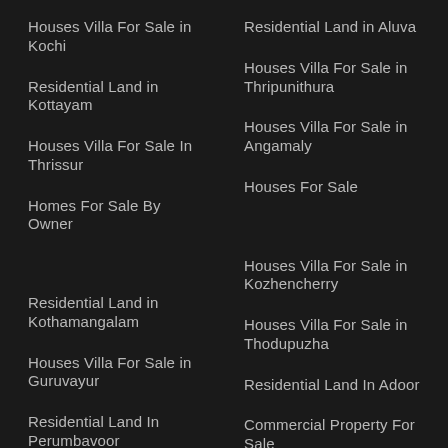Houses Villa For Sale in Kochi
Residential Land in Aluva
Residential Land in Kottayam
Houses Villa For Sale in Thripunithura
Houses Villa For Sale In Thrissur
Houses Villa For Sale in Angamaly
Homes For Sale By Owner
Houses For Sale
Residential Land in Kothamangalam
Houses Villa For Sale in Kozhencherry
Houses Villa For Sale in Guruvayur
Houses Villa For Sale in Thodupuzha
Residential Land In Perumbavoor
Residential Land In Adoor
Houses Villa For Sale in Kottarakkara
Commercial Property For Sale
Real Estate Agent
Commercial Real Estate